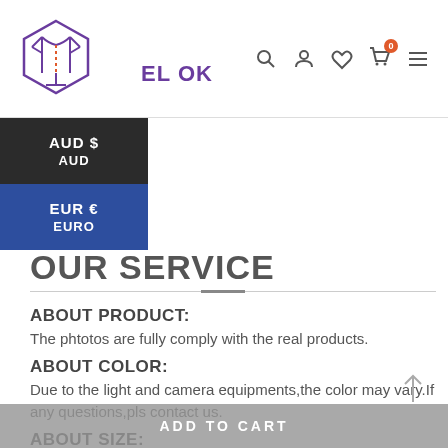[Figure (logo): Clothing store logo with a shirt/jacket icon inside a hexagon outline, purple/violet colored]
EL OK
[Figure (infographic): Navigation icons: search, user, heart/wishlist, cart with badge '0', and hamburger menu]
AUD $ AUD
EUR € EURO
INTRODUCTION
OUR SERVICE
ABOUT PRODUCT:
The phtotos are fully comply with the real products.
ABOUT COLOR:
Due to the light and camera equipments,the color may vary.If any questions,pls contact us.
ABOUT SIZE:
The size is measured by manual. The measuring error 1-3cm is
ADD TO CART